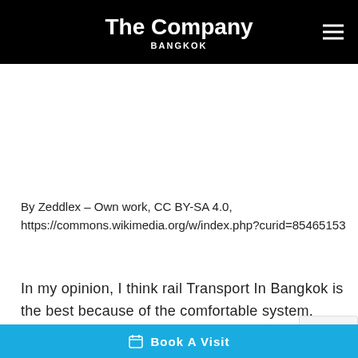The Company BANGKOK
[Figure (photo): White/blank image area placeholder]
By Zeddlex – Own work, CC BY-SA 4.0, https://commons.wikimedia.org/w/index.php?curid=85465153
In my opinion, I think rail Transport In Bangkok is the best because of the comfortable system, easy way
Book A Visit